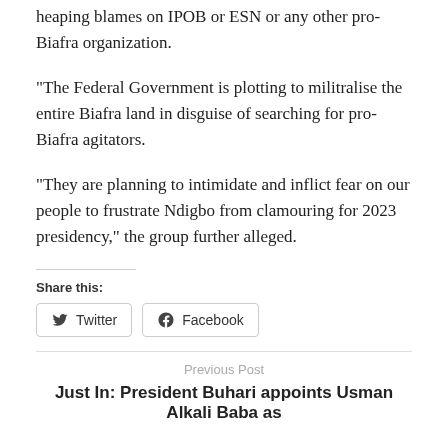heaping blames on IPOB or ESN or any other pro- Biafra organization.
“The Federal Government is plotting to militralise the entire Biafra land in disguise of searching for pro-Biafra agitators.
“They are planning to intimidate and inflict fear on our people to frustrate Ndigbo from clamouring for 2023 presidency,” the group further alleged.
Share this:
Twitter  Facebook
Previous Post
Just In: President Buhari appoints Usman Alkali Baba as